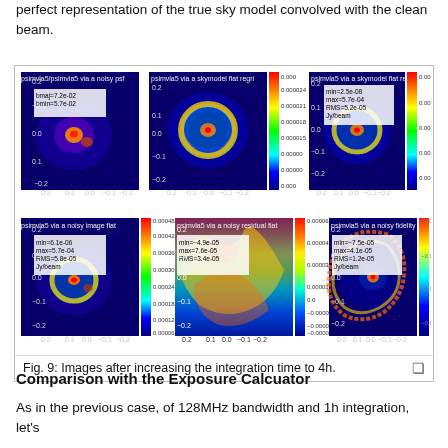perfect representation of the true sky model convolved with the clean beam.
[Figure (other): Six astronomical radio image panels showing psimvla5 images: via a noisy psf, via a skymodel flat regrid (two panels with color scales), via a noisy image flat, via a noisy residual flat, and via a noisy fidelity. Each panel shows spiral galaxy-like structure with color scales from blue (low) to red (high). Top row: PSF panel, two skymodel flat regrid panels. Bottom row: noisy image flat, noisy residual flat, noisy fidelity panel.]
Fig. 9: Images after increasing the integration time to 4h.
Comparison with the Exposure Calcuator
As in the previous case, of 128MHz bandwidth and 1h integration, let's